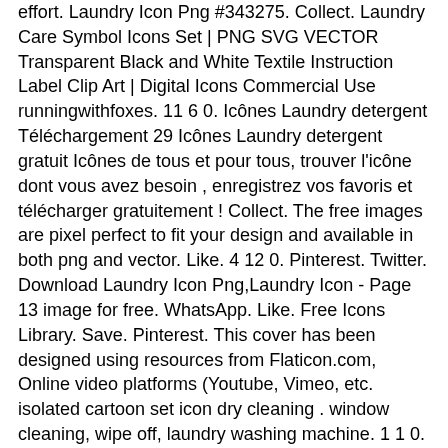effort. Laundry Icon Png #343275. Collect. Laundry Care Symbol Icons Set | PNG SVG VECTOR Transparent Black and White Textile Instruction Label Clip Art | Digital Icons Commercial Use runningwithfoxes. 11 6 0. Icônes Laundry detergent Téléchargement 29 Icônes Laundry detergent gratuit Icônes de tous et pour tous, trouver l'icône dont vous avez besoin , enregistrez vos favoris et télécharger gratuitement ! Collect. The free images are pixel perfect to fit your design and available in both png and vector. Like. 4 12 0. Pinterest. Twitter. Download Laundry Icon Png,Laundry Icon - Page 13 image for free. WhatsApp. Like. Free Icons Library. Save. Pinterest. This cover has been designed using resources from Flaticon.com, Online video platforms (Youtube, Vimeo, etc. isolated cartoon set icon dry cleaning . window cleaning, wipe off, laundry washing machine. 1 1 0. TRANSPARENT IMAGES Laundry - Laundry. 9 22 2. Featuring popular styles like Flat and Material. Mix and match and use to build you own personal and/or commercial projects. WhatsApp. Collect. Last updated on September 9, 2020. The Arm & Hammer Fabric Softener Sheets 2x...